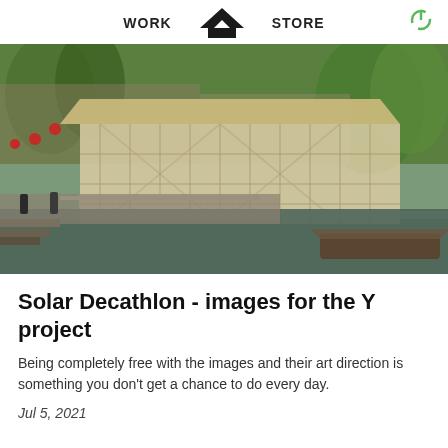WORK  STORE
[Figure (photo): Architectural rendering of a modern pavilion-style building with translucent walls and wooden structure, situated along a Chinese canal with willow trees, red lanterns, traditional architecture, and a covered boat on the water.]
Solar Decathlon - images for the Y project
Being completely free with the images and their art direction is something you don't get a chance to do every day.
Jul 5, 2021